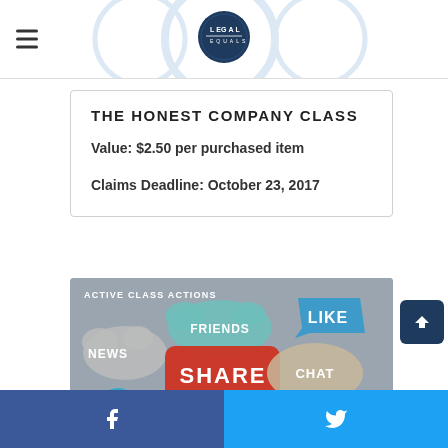LEGAL EQUALS
THE HONEST COMPANY CLASS
Value: $2.50 per purchased item
Claims Deadline: October 23, 2017
[Figure (photo): Social media speech bubble signs showing words: SHARE, LIKE, TWEET, CHAT, SEARCH, NEWS, FRIENDS, FOLLOW with hands holding them. Overlaid text: ACTIVE CLASS ACTIONS]
Facebook share button | Twitter share button